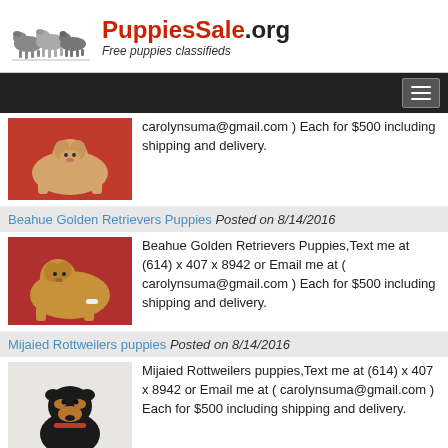PuppiesSale.org — Free puppies classifieds
carolynsuma@gmail.com ) Each for $500 including shipping and delivery.
Beahue Golden Retrievers Puppies Posted on 8/14/2016
[Figure (photo): Golden retriever puppy lying on red fabric]
Beahue Golden Retrievers Puppies,Text me at (614) x 407 x 8942 or Email me at ( carolynsuma@gmail.com ) Each for $500 including shipping and delivery.
Mijaied Rottweilers puppies Posted on 8/14/2016
[Figure (photo): Rottweiler puppy sitting on white background]
Mijaied Rottweilers puppies,Text me at (614) x 407 x 8942 or Email me at ( carolynsuma@gmail.com ) Each for $500 including shipping and delivery.
Posted on 8/14/2016